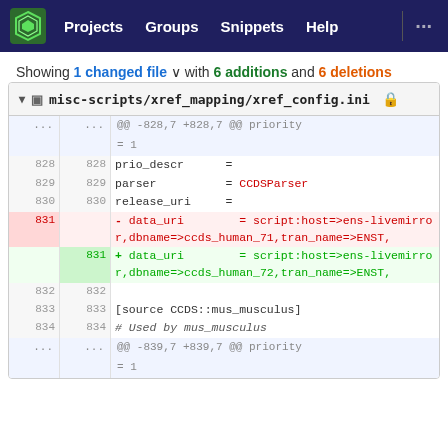Projects  Groups  Snippets  Help  ...
Showing 1 changed file with 6 additions and 6 deletions
misc-scripts/xref_mapping/xref_config.ini
| old | new | code |
| --- | --- | --- |
| ... | ... | @@ -828,7 +828,7 @@ priority |
|  |  | = 1 |
| 828 | 828 | prio_descr      = |
| 829 | 829 | parser          = CCDSParser |
| 830 | 830 | release_uri     = |
| 831 |  | - data_uri        = script:host=>ens-livemirror,dbname=>ccds_human_71,tran_name=>ENST, |
|  | 831 | + data_uri        = script:host=>ens-livemirror,dbname=>ccds_human_72,tran_name=>ENST, |
| 832 | 832 |  |
| 833 | 833 | [source CCDS::mus_musculus] |
| 834 | 834 | # Used by mus_musculus |
| ... | ... | @@ -839,7 +839,7 @@ priority |
|  |  | = 1 |